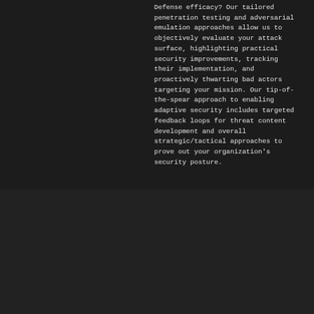Defense efficacy? Our tailored penetration testing and adversarial emulation approaches allow us to objectively evaluate your attack surface, highlighting practical security improvements, tracking their implementation, and proactively thwarting bad actors targeting your mission. Our tip-of-the-spear approach to enabling adaptive security includes targeted feedback loops for threat content development and overall strategic/tactical approaches to prove out your organization's security posture.
[Figure (illustration): Shield icon containing three document pages with downward arrows pointing into a box, representing information assurance and document management]
Information Assurance
Struggling to enable a right sized governance, risk, and compliance (eGRC) approach for your